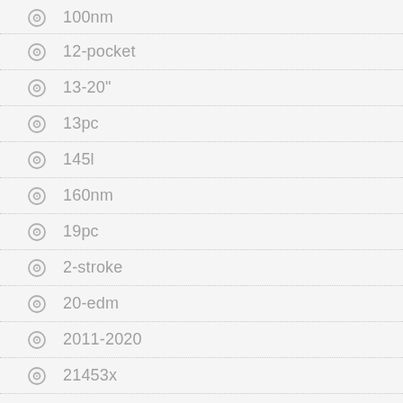100nm
12-pocket
13-20"
13pc
145l
160nm
19pc
2-stroke
20-edm
2011-2020
21453x